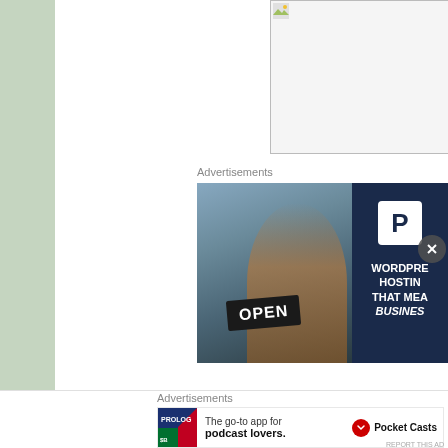[Figure (photo): Partially loaded image placeholder in top-right area]
Advertisements
[Figure (photo): Advertisement banner: woman holding an OPEN sign, smiling, with WordPress Hosting That Means Business ad on the right side]
Advertisements
[Figure (photo): Pocket Casts advertisement: The go-to app for podcast lovers.]